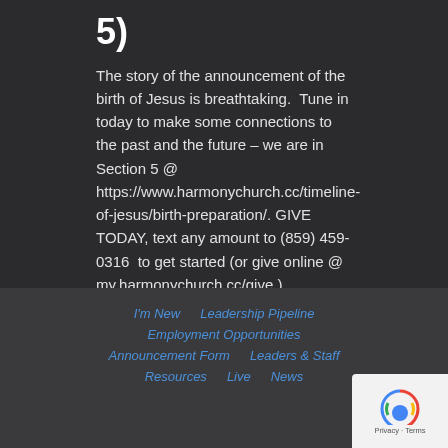5)
The story of the announcement of the birth of Jesus is breathtaking.  Tune in today to make some connections to the past and the future – we are in Section 5 @ https://www.harmonychurch.cc/timeline-of-jesus/birth-preparation/. GIVE TODAY, text any amount to (859) 459-0316  to get started (or give online @ my.harmonychurch.cc/give ). —————- OPENING: Years ago I [...]
[Figure (other): Audio player with play button, 00:00 time counter, progress bar, and 00:00 total time]
I'm New   Leadership Pipeline   Employment Opportunities   Announcement Form   Leaders & Staff   Resources   Live   News